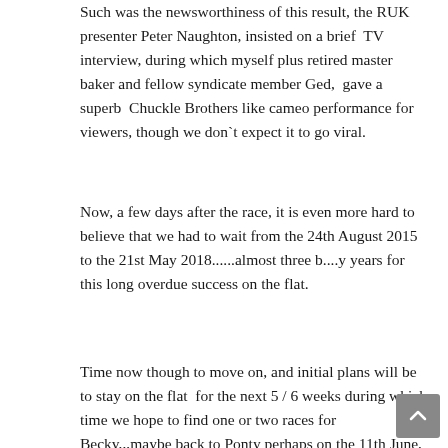Such was the newsworthiness of this result, the RUK presenter Peter Naughton, insisted on a brief  TV interview, during which myself plus retired master baker and fellow syndicate member Ged,  gave a superb  Chuckle Brothers like cameo performance for viewers, though we don`t expect it to go viral.
Now, a few days after the race, it is even more hard to believe that we had to wait from the 24th August 2015 to the 21st May 2018......almost three b....y years for this long overdue success on the flat.
Time now though to move on, and initial plans will be to stay on the flat  for the next 5 / 6 weeks during which time we hope to find one or two races for Becky,,,maybe back to Ponty perhaps on the 11th June, after which, all being well, Becky will have a summer break